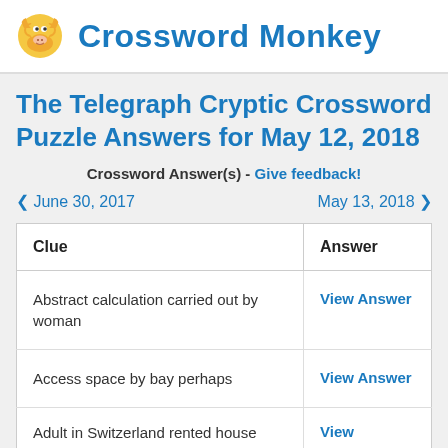Crossword Monkey
The Telegraph Cryptic Crossword Puzzle Answers for May 12, 2018
Crossword Answer(s) - Give feedback!
< June 30, 2017    May 13, 2018 >
| Clue | Answer |
| --- | --- |
| Abstract calculation carried out by woman | View Answer |
| Access space by bay perhaps | View Answer |
| Adult in Switzerland rented house | View Answer |